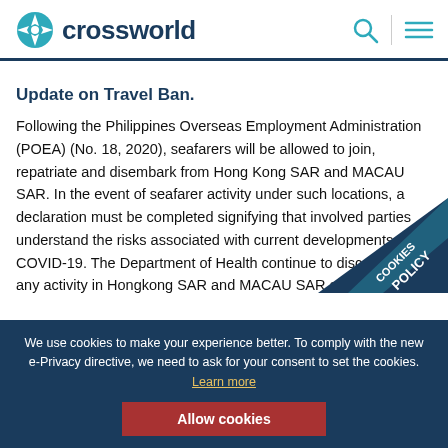crossworld
Update on Travel Ban.
Following the Philippines Overseas Employment Administration (POEA) (No. 18, 2020), seafarers will be allowed to join, repatriate and disembark from Hong Kong SAR and MACAU SAR. In the event of seafarer activity under such locations, a declaration must be completed signifying that involved parties understand the risks associated with current developments of COVID-19. The Department of Health continue to discourage any activity in Hongkong SAR and MACAU SAR and recommend that crew members practise outmost caution if moving throughout said areas
[Figure (other): Cookies Policy badge triangle in dark navy and teal]
We use cookies to make your experience better. To comply with the new e-Privacy directive, we need to ask for your consent to set the cookies. Learn more
Allow cookies